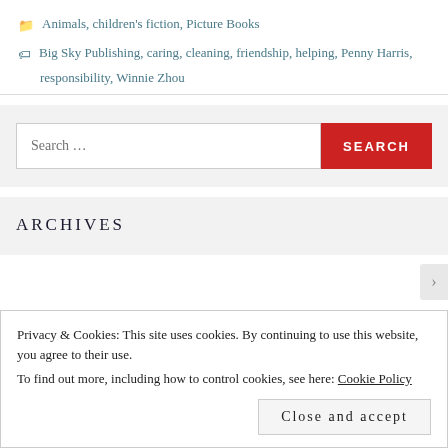Animals, children's fiction, Picture Books
Big Sky Publishing, caring, cleaning, friendship, helping, Penny Harris, responsibility, Winnie Zhou
Search ...
ARCHIVES
Privacy & Cookies: This site uses cookies. By continuing to use this website, you agree to their use.
To find out more, including how to control cookies, see here: Cookie Policy
Close and accept